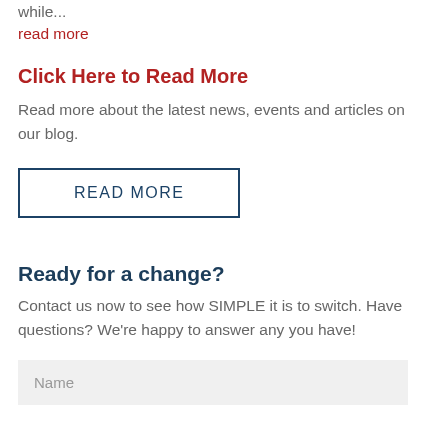…immediately streamlines medication processes while…
read more
Click Here to Read More
Read more about the latest news, events and articles on our blog.
READ MORE
Ready for a change?
Contact us now to see how SIMPLE it is to switch. Have questions? We're happy to answer any you have!
Name